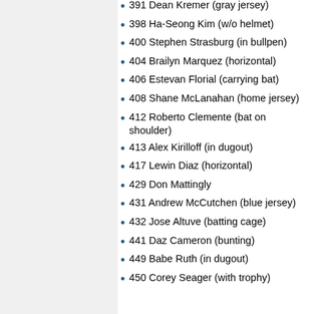391 Dean Kremer (gray jersey)
398 Ha-Seong Kim (w/o helmet)
400 Stephen Strasburg (in bullpen)
404 Brailyn Marquez (horizontal)
406 Estevan Florial (carrying bat)
408 Shane McLanahan (home jersey)
412 Roberto Clemente (bat on shoulder)
413 Alex Kirilloff (in dugout)
417 Lewin Diaz (horizontal)
429 Don Mattingly
431 Andrew McCutchen (blue jersey)
432 Jose Altuve (batting cage)
441 Daz Cameron (bunting)
449 Babe Ruth (in dugout)
450 Corey Seager (with trophy)